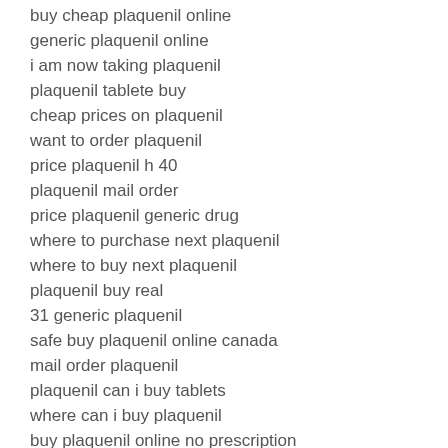buy cheap plaquenil online
generic plaquenil online
i am now taking plaquenil
plaquenil tablete buy
cheap prices on plaquenil
want to order plaquenil
price plaquenil h 40
plaquenil mail order
price plaquenil generic drug
where to purchase next plaquenil
where to buy next plaquenil
plaquenil buy real
31 generic plaquenil
safe buy plaquenil online canada
mail order plaquenil
plaquenil can i buy tablets
where can i buy plaquenil
buy plaquenil online no prescription
buy plaquenil store
buying plaquenil online
plaquenil 200mg overseas foreign pharmacy
price plaquenil 1